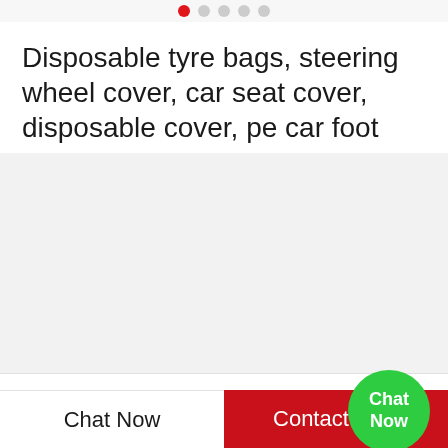[Figure (other): Carousel dot indicators: one red active dot followed by four gray inactive dots]
Disposable tyre bags, steering wheel cover, car seat cover, disposable cover, pe car foot mat, g…
[Figure (photo): Gray image placeholder area for product photo]
| Field | Value |
| --- | --- |
| FOB Price | Negotiable |
| Min.Order Quantity | 5000 Bag / Bags |
| Supply Ability | 2147483647 Bag / Bags per Month |
Chat Now
Contact Now